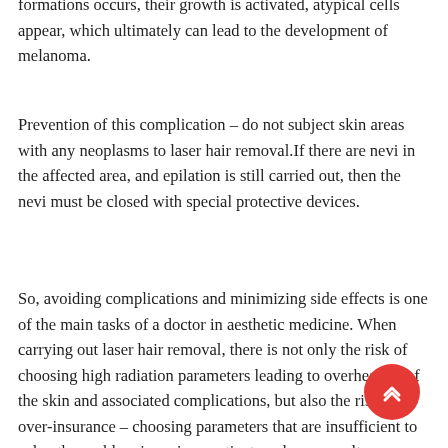formations occurs, their growth is activated, atypical cells appear, which ultimately can lead to the development of melanoma.
Prevention of this complication – do not subject skin areas with any neoplasms to laser hair removal.If there are nevi in the affected area, and epilation is still carried out, then the nevi must be closed with special protective devices.
So, avoiding complications and minimizing side effects is one of the main tasks of a doctor in aesthetic medicine. When carrying out laser hair removal, there is not only the risk of choosing high radiation parameters leading to overheating of the skin and associated complications, but also the risk of over-insurance – choosing parameters that are insufficient to solve the problem in a given patient, and, as a result, are ineffective, which can lead not only to lack of the desired effect, but to the appearance of the